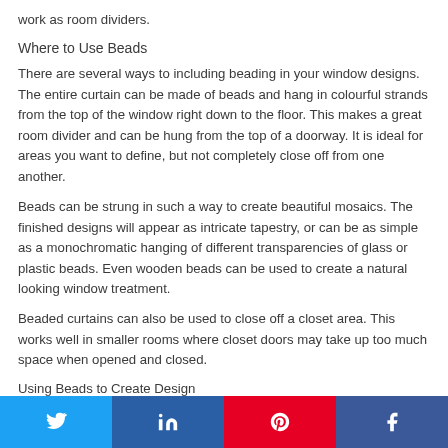work as room dividers.
Where to Use Beads
There are several ways to including beading in your window designs. The entire curtain can be made of beads and hang in colourful strands from the top of the window right down to the floor. This makes a great room divider and can be hung from the top of a doorway. It is ideal for areas you want to define, but not completely close off from one another.
Beads can be strung in such a way to create beautiful mosaics. The finished designs will appear as intricate tapestry, or can be as simple as a monochromatic hanging of different transparencies of glass or plastic beads. Even wooden beads can be used to create a natural looking window treatment.
Beaded curtains can also be used to close off a closet area. This works well in smaller rooms where closet doors may take up too much space when opened and closed.
Using Beads to Create Design…